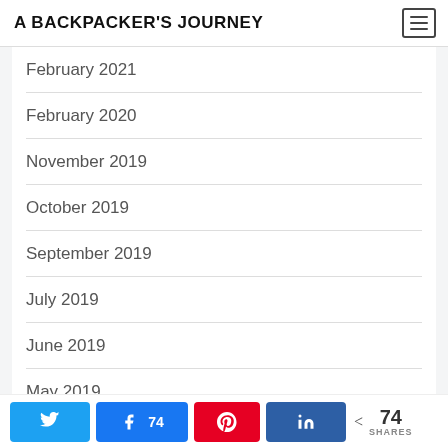A BACKPACKER'S JOURNEY
February 2021
February 2020
November 2019
October 2019
September 2019
July 2019
June 2019
May 2019
April 2019
74 SHARES